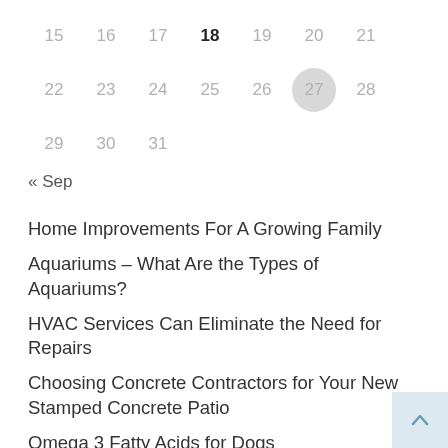15 16 17 18 19 20 21
22 23 24 25 26 27 28
29 30 31
« Sep
Home Improvements For A Growing Family
Aquariums – What Are the Types of Aquariums?
HVAC Services Can Eliminate the Need for Repairs
Choosing Concrete Contractors for Your New Stamped Concrete Patio
Omega 3 Fatty Acids for Dogs
Lead Generation – Why You Must Nurture Your Leads
Selecting a Cleaning Service
Why Every Homeowner Should Hire Maids